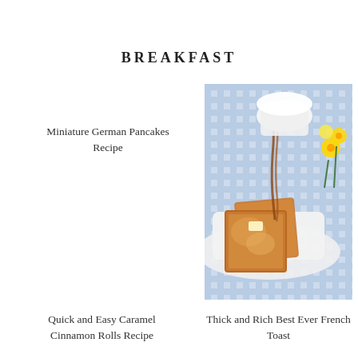BREAKFAST
Miniature German Pancakes Recipe
[Figure (photo): Photo of French toast slices with syrup being poured, butter on top, served on a white plate with blue checkered tablecloth and yellow flowers in background]
Thick and Rich Best Ever French Toast
Quick and Easy Caramel Cinnamon Rolls Recipe